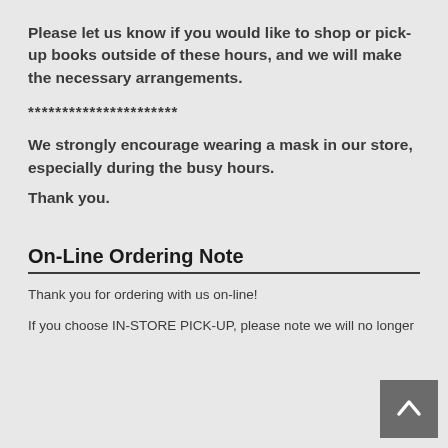Please let us know if you would like to shop or pick-up books outside of these hours, and we will make the necessary arrangements.
**********************
We strongly encourage wearing a mask in our store, especially during the busy hours.
Thank you.
On-Line Ordering Note
Thank you for ordering with us on-line!
If you choose IN-STORE PICK-UP, please note we will no longer